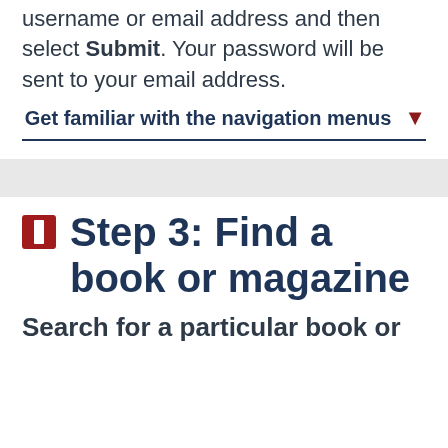username or email address and then select Submit. Your password will be sent to your email address.
Get familiar with the navigation menus
🔖 Step 3: Find a book or magazine
Search for a particular book or